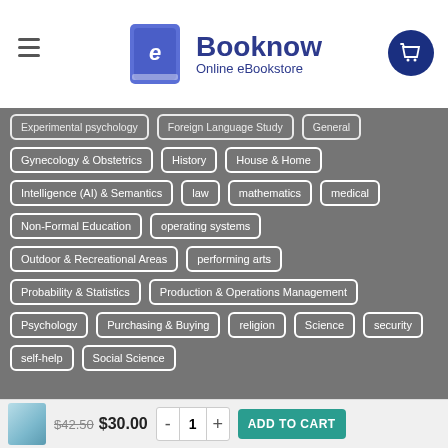[Figure (logo): Booknow Online eBookstore logo with blue book icon and text]
Experimental psychology
Foreign Language Study
General
Gynecology & Obstetrics
History
House & Home
Intelligence (AI) & Semantics
law
mathematics
medical
Non-Formal Education
operating systems
Outdoor & Recreational Areas
performing arts
Probability & Statistics
Production & Operations Management
Psychology
Purchasing & Buying
religion
Science
security
self-help
Social Science
SHOPBOOKNOW.COM
$42.50  $30.00
ADD TO CART